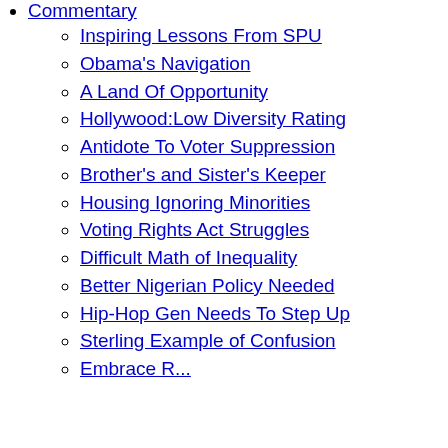Commentary
Inspiring Lessons From SPU
Obama's Navigation
A Land Of Opportunity
Hollywood:Low Diversity Rating
Antidote To Voter Suppression
Brother's and Sister's Keeper
Housing Ignoring Minorities
Voting Rights Act Struggles
Difficult Math of Inequality
Better Nigerian Policy Needed
Hip-Hop Gen Needs To Step Up
Sterling Example of Confusion
Embrace R...